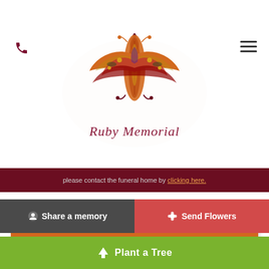[Figure (logo): Ruby Memorial decorative lotus/peacock feather logo in orange, red, maroon and purple colors with the text 'Ruby Memorial' in script font below]
please contact the funeral home by clicking here.
Call Us
[Figure (logo): Footer area with purple background containing small partner/association logos including NFDA and others]
Share a memory
Send Flowers
Plant a Tree